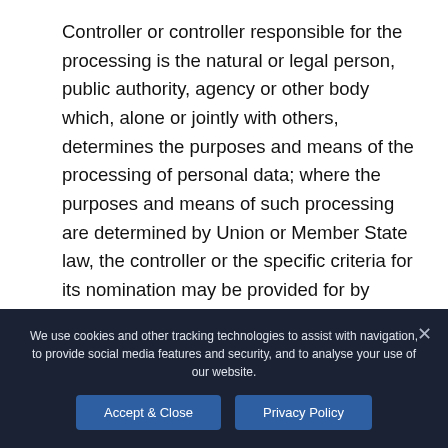Controller or controller responsible for the processing is the natural or legal person, public authority, agency or other body which, alone or jointly with others, determines the purposes and means of the processing of personal data; where the purposes and means of such processing are determined by Union or Member State law, the controller or the specific criteria for its nomination may be provided for by Union or Member State law.
h)   Processor
We use cookies and other tracking technologies to assist with navigation, to provide social media features and security, and to analyse your use of our website.